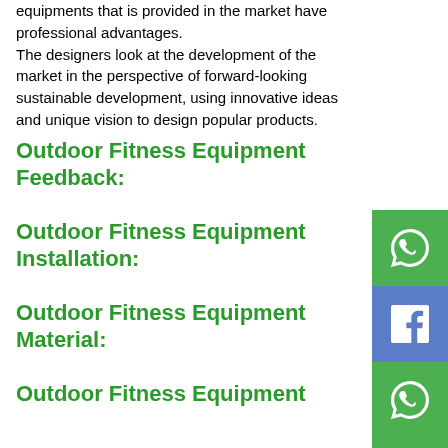equipments that is provided in the market have professional advantages. The designers look at the development of the market in the perspective of forward-looking sustainable development, using innovative ideas and unique vision to design popular products.
Outdoor Fitness Equipment Feedback:
Outdoor Fitness Equipment Installation:
Outdoor Fitness Equipment Material:
Outdoor Fitness Equipment